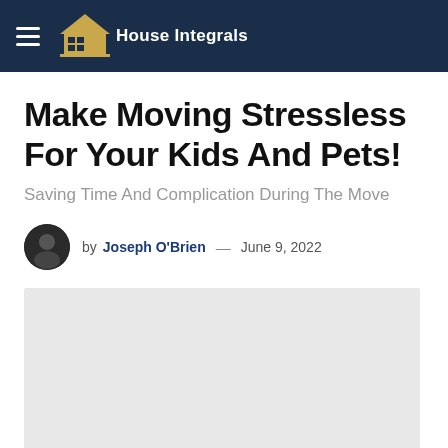House Integrals
Make Moving Stressless For Your Kids And Pets!
Saving Time And Complication During The Move
by Joseph O'Brien — June 9, 2022
[Figure (photo): Article header image placeholder, light gray background]